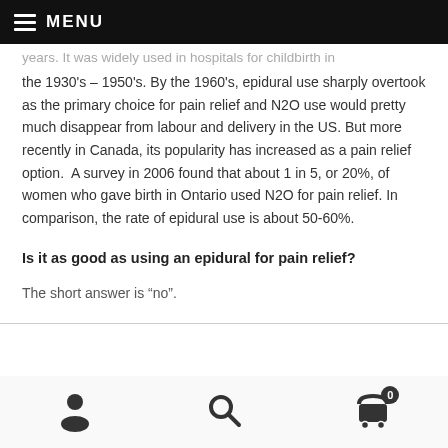MENU
years. It was widely used in hospitals for childbirth in the 1930's – 1950's. By the 1960's, epidural use sharply overtook as the primary choice for pain relief and N2O use would pretty much disappear from labour and delivery in the US. But more recently in Canada, its popularity has increased as a pain relief option. A survey in 2006 found that about 1 in 5, or 20%, of women who gave birth in Ontario used N2O for pain relief. In comparison, the rate of epidural use is about 50-60%.
Is it as good as using an epidural for pain relief?
The short answer is “no”.